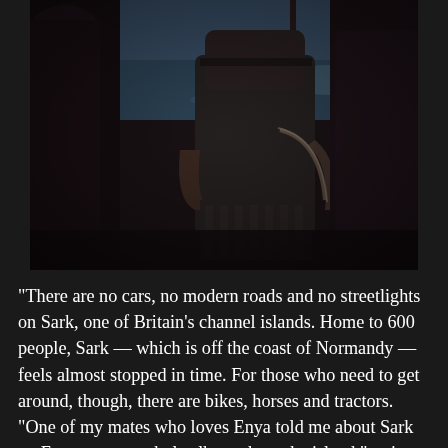[Figure (photo): Dark interior of a ferry or boat cabin showing empty passenger seats with dark upholstery, armrests, and windows revealing a water view with dim twilight light outside.]
"There are no cars, no modern roads and no streetlights on Sark, one of Britain's channel islands. Home to 600 people, Sark — which is off the coast of Normandy — feels almost stopped in time. For those who need to get around, though, there are bikes, horses and tractors. "One of my mates who loves Enya told me about Sark — Enya wrote a whole album about the island," writes the photographer @jon_tonks, who visited Sark while on assignment for @nytmag. "But I really wanted to go because Sark has a designation as a Dark Sky